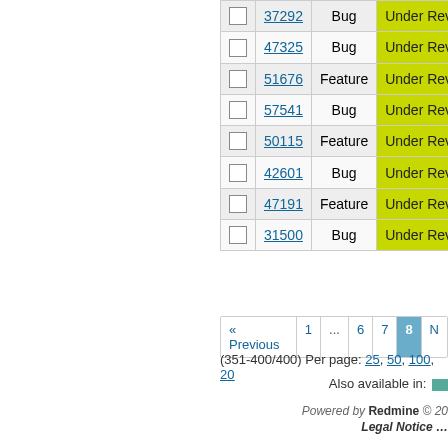|  | ID | Type | Status |
| --- | --- | --- | --- |
|  | 37292 | Bug | Under Review |
|  | 47325 | Bug | Under Review |
|  | 51676 | Feature | Under Review |
|  | 57541 | Bug | Under Review |
|  | 50115 | Feature | Under Review |
|  | 42601 | Bug | Under Review |
|  | 47191 | Feature | Under Review |
|  | 31500 | Bug | Under Review |
« Previous  1  ...  6  7  8  N
(351-400/400) Per page: 25, 50, 100, 20
Also available in:
Powered by Redmine © 20
Legal Notice ...